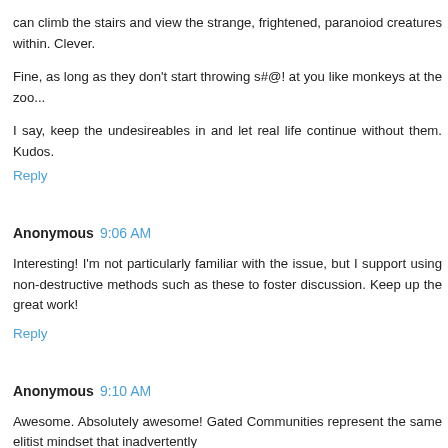can climb the stairs and view the strange, frightened, paranoiod creatures within. Clever.
Fine, as long as they don't start throwing s#@! at you like monkeys at the zoo...
I say, keep the undesireables in and let real life continue without them. Kudos.
Reply
Anonymous 9:06 AM
Interesting! I'm not particularly familiar with the issue, but I support using non-destructive methods such as these to foster discussion. Keep up the great work!
Reply
Anonymous 9:10 AM
Awesome. Absolutely awesome! Gated Communities represent the same elitist mindset that inadvertently